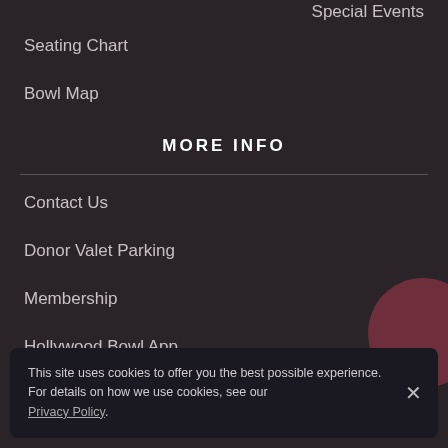Special Events
Seating Chart
Bowl Map
MORE INFO
Contact Us
Donor Valet Parking
Membership
Hollywood Bowl App
This site uses cookies to offer you the best possible experience. For details on how we use cookies, see our Privacy Policy.